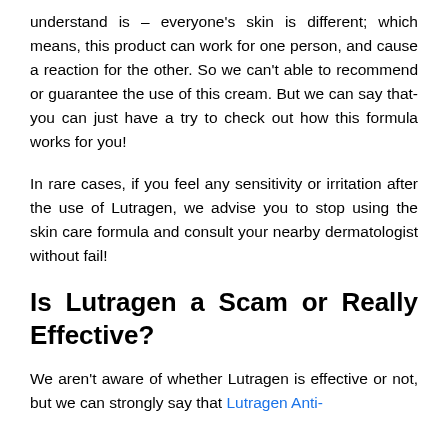understand is – everyone's skin is different; which means, this product can work for one person, and cause a reaction for the other. So we can't able to recommend or guarantee the use of this cream. But we can say that- you can just have a try to check out how this formula works for you!
In rare cases, if you feel any sensitivity or irritation after the use of Lutragen, we advise you to stop using the skin care formula and consult your nearby dermatologist without fail!
Is Lutragen a Scam or Really Effective?
We aren't aware of whether Lutragen is effective or not, but we can strongly say that Lutragen Anti-